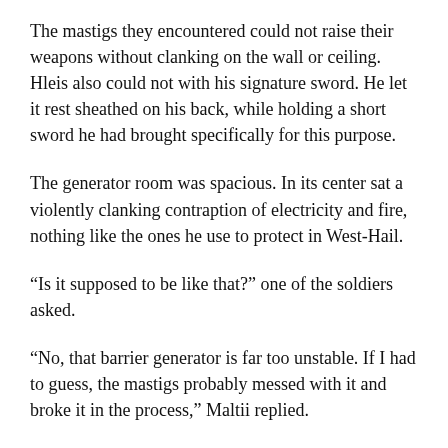The mastigs they encountered could not raise their weapons without clanking on the wall or ceiling. Hleis also could not with his signature sword. He let it rest sheathed on his back, while holding a short sword he had brought specifically for this purpose.
The generator room was spacious. In its center sat a violently clanking contraption of electricity and fire, nothing like the ones he use to protect in West-Hail.
“Is it supposed to be like that?” one of the soldiers asked.
“No, that barrier generator is far too unstable. If I had to guess, the mastigs probably messed with it and broke it in the process,” Maltii replied.
“Is there a way to shut it off?” Hleis asked.